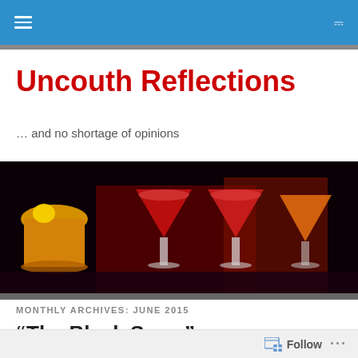Uncouth Reflections – navigation bar
Uncouth Reflections
… and no shortage of opinions
[Figure (photo): A dark background image showing colorful cocktail drinks lit with vivid yellows, reds, and oranges on a bar surface.]
MONTHLY ARCHIVES: JUNE 2015
“The Black Swan”
Follow